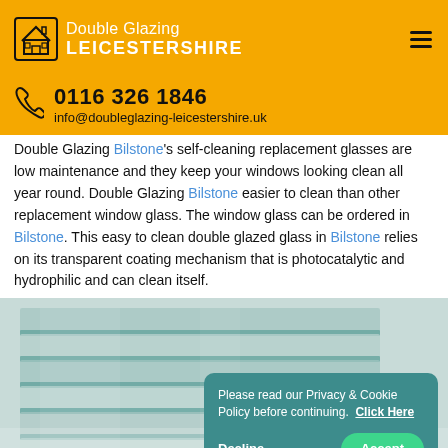Double Glazing Leicestershire
0116 326 1846
info@doubleglazing-leicestershire.uk
Double Glazing Bilstone's self-cleaning replacement glasses are low maintenance and they keep your windows looking clean all year round. Double Glazing Bilstone easier to clean than other replacement window glass. The window glass can be ordered in Bilstone. This easy to clean double glazed glass in Bilstone relies on its transparent coating mechanism that is photocatalytic and hydrophilic and can clean itself.
[Figure (photo): Stacked double glazed glass panels showing layers of glass with teal/green tinted edges]
Please read our Privacy & Cookie Policy before continuing. Click Here
Decline  Accept